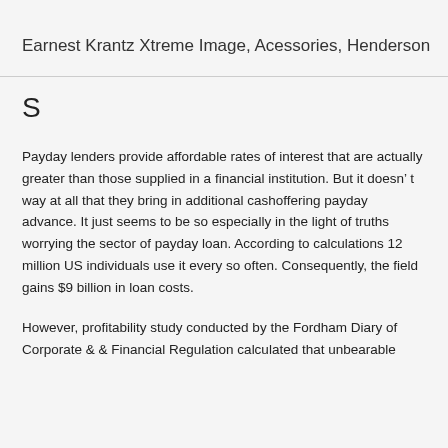Earnest Krantz Xtreme Image, Acessories, Henderson
S
Payday lenders provide affordable rates of interest that are actually greater than those supplied in a financial institution. But it doesn’ t way at all that they bring in additional cashoffering payday advance. It just seems to be so especially in the light of truths worrying the sector of payday loan. According to calculations 12 million US individuals use it every so often. Consequently, the field gains $9 billion in loan costs.
However, profitability study conducted by the Fordham Diary of Corporate & & Financial Regulation calculated that unbearable